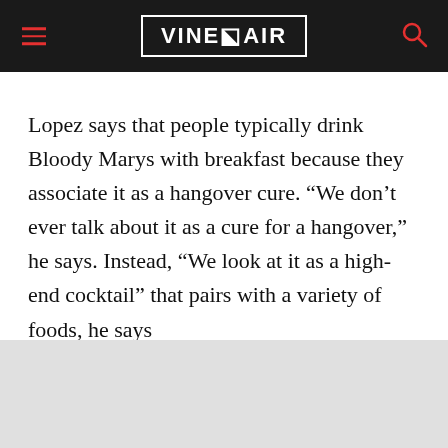VINEPAIR
Lopez says that people typically drink Bloody Marys with breakfast because they associate it as a hangover cure. “We don’t ever talk about it as a cure for a hangover,” he says. Instead, “We look at it as a high-end cocktail” that pairs with a variety of foods, he says